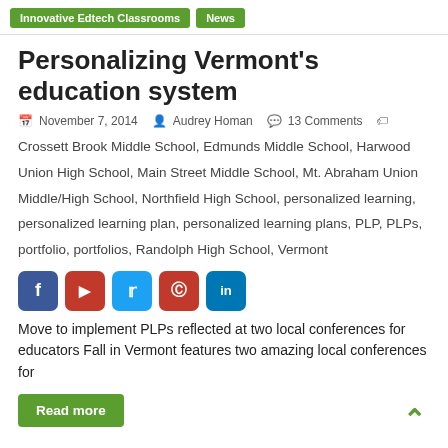Innovative Edtech Classrooms  News
Personalizing Vermont's education system
November 7, 2014  Audrey Homan  13 Comments
Crossett Brook Middle School, Edmunds Middle School, Harwood Union High School, Main Street Middle School, Mt. Abraham Union Middle/High School, Northfield High School, personalized learning, personalized learning plan, personalized learning plans, PLP, PLPs, portfolio, portfolios, Randolph High School, Vermont
[Figure (infographic): Social sharing buttons: Facebook (blue), Flipboard (red), Twitter (blue), Pinterest (red), LinkedIn (blue)]
Move to implement PLPs reflected at two local conferences for educators Fall in Vermont features two amazing local conferences for
Read more